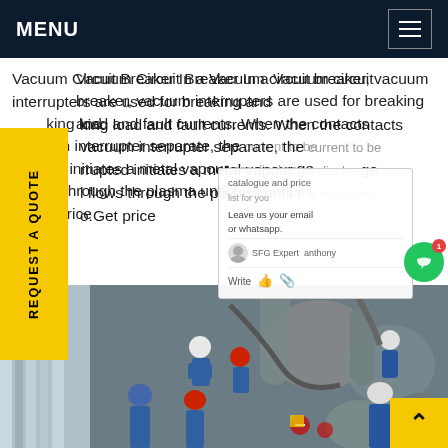MENU
Vacuum Circuit Breaker In a Vacuum circuit breaker, vacuum interrupters are used for breaking and making load and fault currents. When the contacts of the vacuum interrupter separate, the current to be interrupted initiates a metal vapour arc discharge and flows through the plasma until the next current zero.Get price
[Figure (photo): Workers in hard hats and blue uniforms working on large industrial electrical equipment / circuit breakers outdoors]